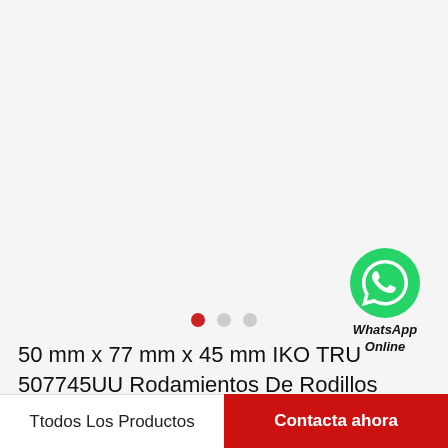[Figure (illustration): WhatsApp contact widget showing green WhatsApp icon circle with phone handset, labeled 'WhatsApp Online']
50 mm x 77 mm x 45 mm IKO TRU 507745UU Rodamientos De Rodillos
Ttodos Los Productos
Contacta ahora